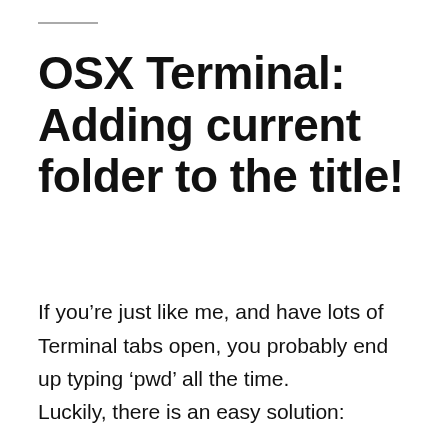OSX Terminal: Adding current folder to the title!
If you’re just like me, and have lots of Terminal tabs open, you probably end up typing ‘pwd’ all the time.
Luckily, there is an easy solution: